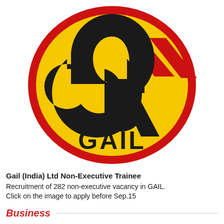[Figure (logo): GAIL (Gas Authority of India Limited) circular logo. Yellow oval with red border. Contains a stylized black letter G with red diagonal stripes on top right. Hindi text 'गेल' at the top inside the oval. 'GAIL' text in black at the bottom inside the oval.]
Gail (India) Ltd Non-Executive Trainee
Recruitment of 282 non-executive vacancy in GAIL. Click on the image to apply before Sep.15
Business